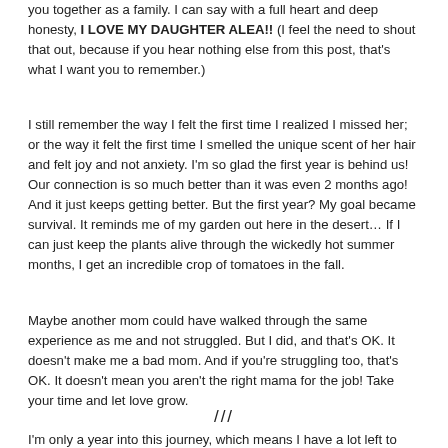you together as a family. I can say with a full heart and deep honesty, I LOVE MY DAUGHTER ALEA!! (I feel the need to shout that out, because if you hear nothing else from this post, that's what I want you to remember.)
I still remember the way I felt the first time I realized I missed her; or the way it felt the first time I smelled the unique scent of her hair and felt joy and not anxiety. I'm so glad the first year is behind us! Our connection is so much better than it was even 2 months ago! And it just keeps getting better. But the first year? My goal became survival. It reminds me of my garden out here in the desert… If I can just keep the plants alive through the wickedly hot summer months, I get an incredible crop of tomatoes in the fall.
Maybe another mom could have walked through the same experience as me and not struggled. But I did, and that's OK. It doesn't make me a bad mom. And if you're struggling too, that's OK. It doesn't mean you aren't the right mama for the job! Take your time and let love grow.
///
I'm only a year into this journey, which means I have a lot left to